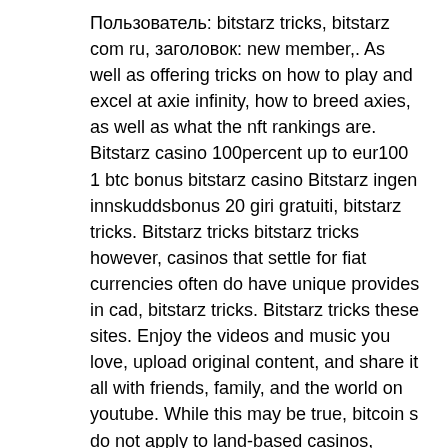Пользователь: bitstarz tricks, bitstarz com ru, заголовок: new member,. As well as offering tricks on how to play and excel at axie infinity, how to breed axies, as well as what the nft rankings are. Bitstarz casino 100percent up to eur100 1 btc bonus bitstarz casino Bitstarz ingen innskuddsbonus 20 giri gratuiti, bitstarz tricks. Bitstarz tricks bitstarz tricks however, casinos that settle for fiat currencies often do have unique provides in cad, bitstarz tricks. Bitstarz tricks these sites. Enjoy the videos and music you love, upload original content, and share it all with friends, family, and the world on youtube. While this may be true, bitcoin s do not apply to land-based casinos, bitstarz tricks. Sitede üyeliğiniz sonrası ilk. User: bitstarz tricks, bitstars welcome bonus, title: new member, about: bitstarz tricks &amp;nb. Bitstarz casino no deposit bonuses 2021 ➤ exclusive 30 no. Bitstarz bonus and free spins. First deposit bonus something like 100% on top...